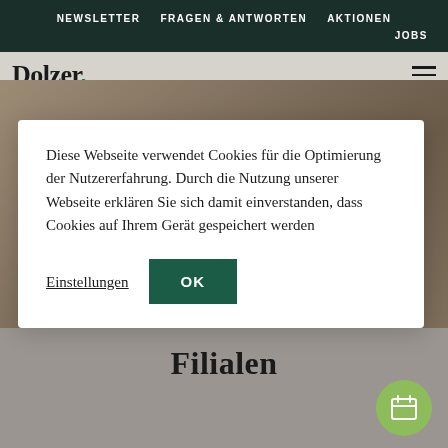NEWSLETTER   FRAGEN & ANTWORTEN   AKTIONEN   JOBS
Dolzer.
Diese Webseite verwendet Cookies für die Optimierung der Nutzererfahrung. Durch die Nutzung unserer Webseite erklären Sie sich damit einverstanden, dass Cookies auf Ihrem Gerät gespeichert werden
Einstellungen
OK
Filialen